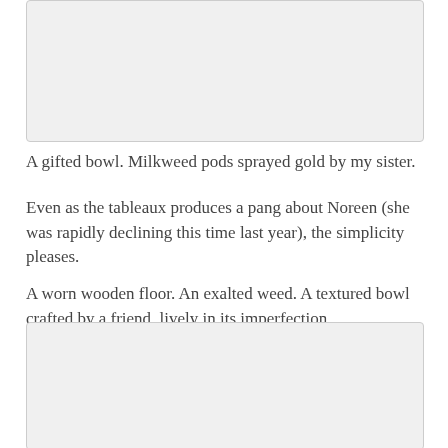[Figure (photo): A photograph placeholder at the top of the page, showing a light grey rectangle representing an image area.]
A gifted bowl. Milkweed pods sprayed gold by my sister.
Even as the tableaux produces a pang about Noreen (she was rapidly declining this time last year), the simplicity pleases.
A worn wooden floor. An exalted weed. A textured bowl crafted by a friend, lively in its imperfection.
[Figure (photo): A photograph placeholder at the bottom of the page, showing a light grey rectangle representing an image area.]